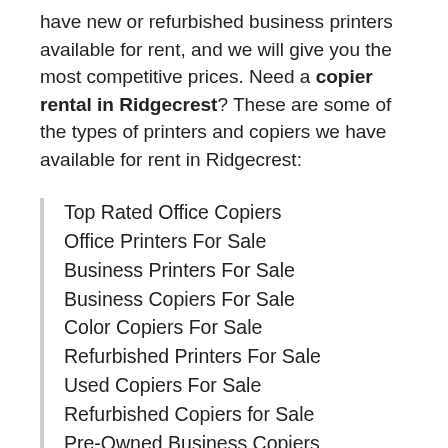have new or refurbished business printers available for rent, and we will give you the most competitive prices. Need a copier rental in Ridgecrest? These are some of the types of printers and copiers we have available for rent in Ridgecrest:
Top Rated Office Copiers
Office Printers For Sale
Business Printers For Sale
Business Copiers For Sale
Color Copiers For Sale
Refurbished Printers For Sale
Used Copiers For Sale
Refurbished Copiers for Sale
Pre-Owned Business Copiers
Office Copiers For Sale
Digital Copiers For Sale
Digital Printers